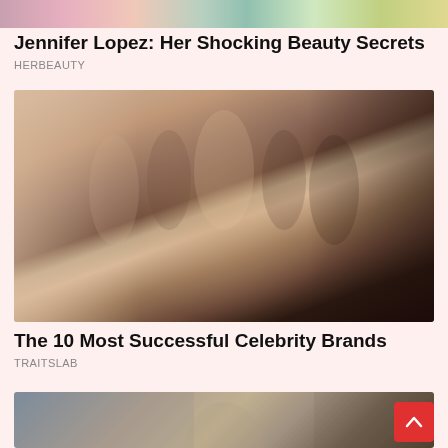[Figure (photo): Colorful banner image at top of feed, partially cropped]
Jennifer Lopez: Her Shocking Beauty Secrets
HERBEAUTY
[Figure (photo): Group of women in shapewear/bodysuits, Kim Kardashian centered in nude bodysuit, others in beige and dark brown bodysuits with arms raised]
The 10 Most Successful Celebrity Brands
TRAITSLAB
[Figure (photo): Partially visible photo of a person, bottom of page, cropped]